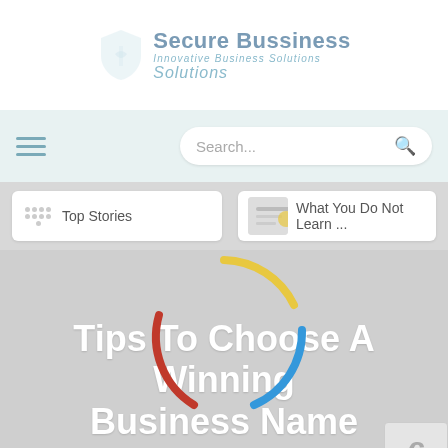[Figure (logo): Secure Business Solutions logo with shield icon]
[Figure (screenshot): Navigation bar with hamburger menu and search box]
[Figure (screenshot): Cards row showing Top Stories and What You Do Not Learn]
[Figure (infographic): Colorful loading spinner made of red, yellow, and blue arcs]
Tips To Choose A Winning Business Name
Home > Branding >
Tips To Choose A Winning Business Name